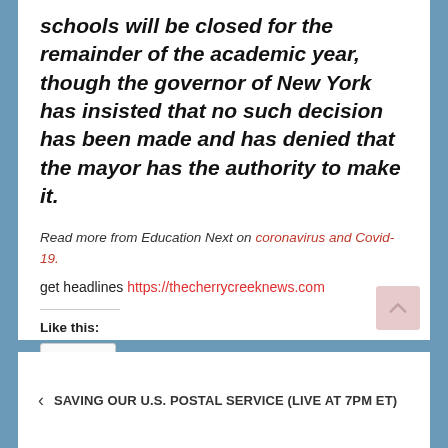schools will be closed for the remainder of the academic year, though the governor of New York has insisted that no such decision has been made and has denied that the mayor has the authority to make it.
Read more from Education Next on coronavirus and Covid-19.
get headlines https://thecherrycreeknews.com
Like this:
Like
Be the first to like this.
< SAVING OUR U.S. POSTAL SERVICE (LIVE AT 7PM ET)